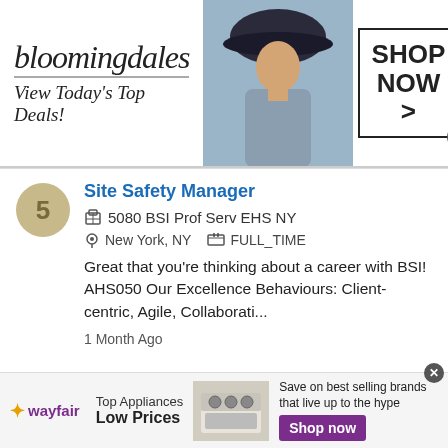[Figure (illustration): Bloomingdales advertisement banner with logo, model in hat, and Shop Now button]
5
Site Safety Manager
5080 BSI Prof Serv EHS NY
New York, NY   FULL_TIME
Great that you're thinking about a career with BSI! AHS050 Our Excellence Behaviours: Client-centric, Agile, Collaborati...
1 Month Ago
This site uses cookies and other similar technologies to provide site functionality, analyze traffic and usage, and
[Figure (illustration): Wayfair advertisement banner for Top Appliances Low Prices with Shop now button]